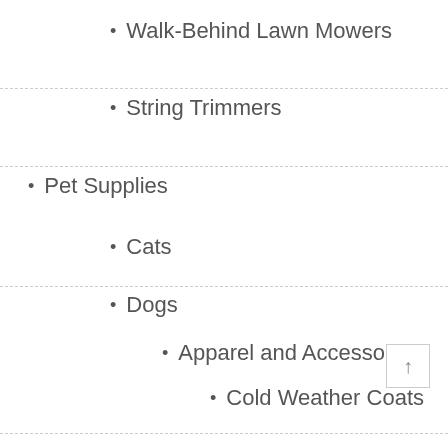Walk-Behind Lawn Mowers
String Trimmers
Pet Supplies
Cats
Dogs
Apparel and Accessories
Cold Weather Coats
Lifejackets
Raincoats